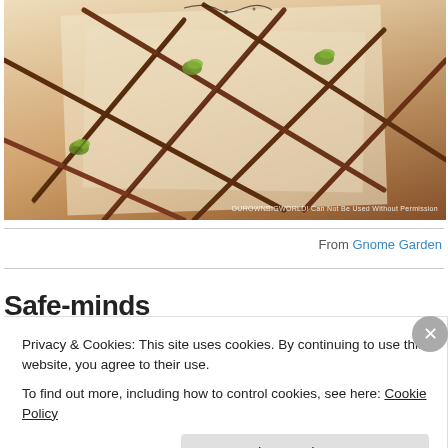[Figure (photo): Photo of a lattice made from natural sticks/twigs arranged in a grid pattern, tied at intersections with small green moss accents. Photo has watermark text 'OUROWNBIGWORLD! Can Not Be Used Without Permission' at bottom right.]
From Gnome Garden
Safe-minds...
Privacy & Cookies: This site uses cookies. By continuing to use this website, you agree to their use.
To find out more, including how to control cookies, see here: Cookie Policy
Close and accept